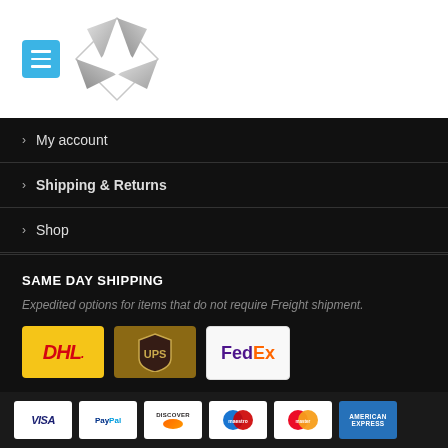[Figure (logo): Menu button (blue square with three horizontal lines) and a stylized metallic pinwheel/windmill logo]
> My account
> Shipping & Returns
> Shop
SAME DAY SHIPPING
Expedited options for items that do not require Freight shipment.
[Figure (logo): Shipping carrier logos: DHL (yellow background, red text), UPS (brown background, shield logo), FedEx (white background, purple and orange text)]
[Figure (logo): Payment method logos: Visa, PayPal, Discover, Maestro, Mastercard, American Express]